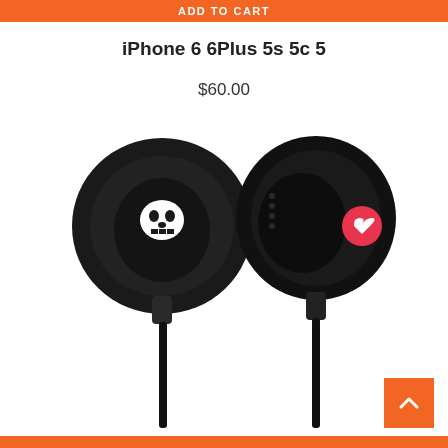ADD TO CART
iPhone 6 6Plus 5s 5c 5
$60.00
[Figure (photo): Black Skullcandy earbuds/in-ear headphones shown side by side. Left earbud shows the Skullcandy skull logo in white. Right earbud has a red circular heart/favorite button. Both have black cables extending downward.]